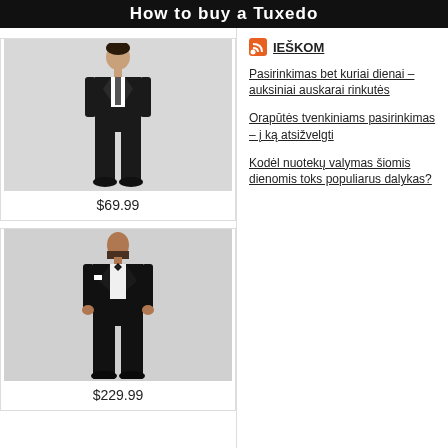How to buy a Tuxedo
[Figure (photo): Child wearing a black suit/tuxedo, full body shot, price label $69.99]
$69.99
[Figure (photo): Adult man wearing a black tuxedo with bow tie, full body shot, price label $229.99]
$229.99
IEŠKOM
Pasirinkimas bet kuriai dienai – auksiniai auskarai rinkutės
Orapūtės tvenkiniams pasirinkimas – į ką atsižvelgti
Kodėl nuotekų valymas šiomis dienomis toks populiarus dalykas?